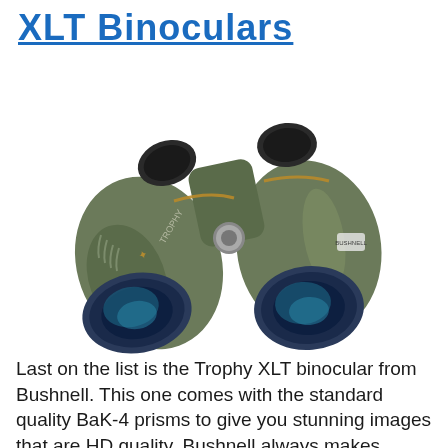XLT Binoculars
[Figure (photo): Green Bushnell Trophy XLT binoculars photographed at an angle showing both objective lenses, with blue-coated multi-layer optics visible. The body is olive/military green with rubber grip ridges and a gold/copper accent stripe. A central focus wheel is visible between the two barrels.]
Last on the list is the Trophy XLT binocular from Bushnell. This one comes with the standard quality BaK-4 prisms to give you stunning images that are HD quality. Bushnell always makes durable binoculars with beautiful designs...